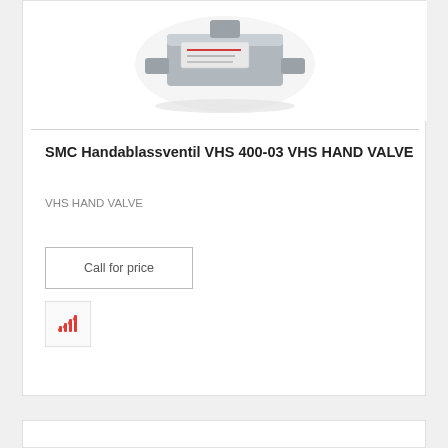[Figure (photo): Product photo of SMC Handablassventil VHS 400-03 hand valve, a metallic pneumatic valve component shown on a white background]
SMC Handablassventil VHS 400-03 VHS HAND VALVE
VHS HAND VALVE
Call for price
[Figure (infographic): Small bar chart icon in red/coral color suggesting price comparison or market data]